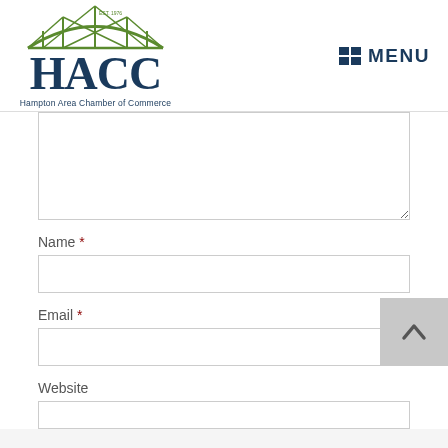[Figure (logo): HACC Hampton Area Chamber of Commerce logo with green bridge/arch graphic above the HACC letters]
MENU
[Figure (screenshot): A web form with a large textarea input box (partially visible), followed by Name *, Email *, and Website fields with text input boxes]
Name *
Email *
Website